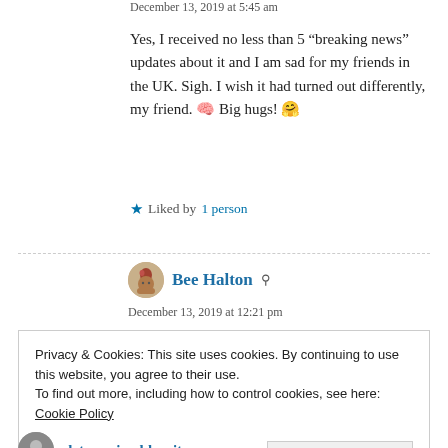December 13, 2019 at 5:45 am
Yes, I received no less than 5 “breaking news” updates about it and I am sad for my friends in the UK. Sigh. I wish it had turned out differently, my friend. 🤔 Big hugs! 🤗
★ Liked by 1 person
Bee Halton
December 13, 2019 at 12:21 pm
Privacy & Cookies: This site uses cookies. By continuing to use this website, you agree to their use.
To find out more, including how to control cookies, see here: Cookie Policy
Close and accept
deteremineddespitewp